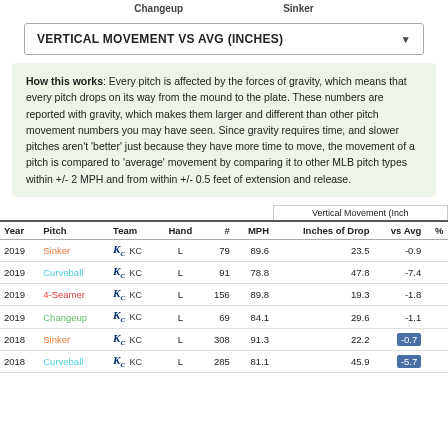Changeup    Sinker
VERTICAL MOVEMENT VS AVG (INCHES)
How this works: Every pitch is affected by the forces of gravity, which means that every pitch drops on its way from the mound to the plate. These numbers are reported with gravity, which makes them larger and different than other pitch movement numbers you may have seen. Since gravity requires time, and slower pitches aren't 'better' just because they have more time to move, the movement of a pitch is compared to 'average' movement by comparing it to other MLB pitch types within +/- 2 MPH and from within +/- 0.5 feet of extension and release.
| Year | Pitch | Team | Hand | # | MPH | Inches of Drop | vs Avg | % |
| --- | --- | --- | --- | --- | --- | --- | --- | --- |
| 2019 | Sinker | KC KC | L | 79 | 89.6 | 23.5 | -0.9 |  |
| 2019 | Curveball | KC KC | L | 91 | 78.8 | 47.8 | -7.4 |  |
| 2019 | 4-Seamer | KC KC | L | 156 | 89.8 | 19.3 | -1.8 |  |
| 2019 | Changeup | KC KC | L | 69 | 84.1 | 29.6 | -1.1 |  |
| 2018 | Sinker | KC KC | L | 308 | 91.3 | 22.2 | -0.7 |  |
| 2018 | Curveball | KC KC | L | 285 | 81.1 | 45.9 | -5.7 |  |